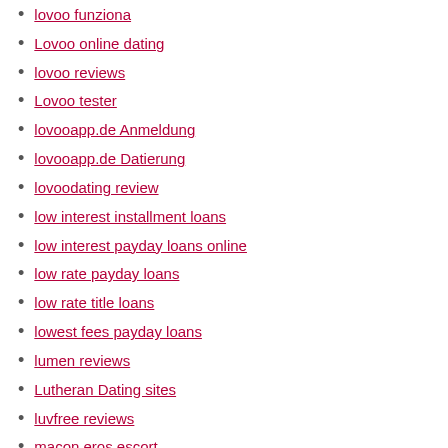lovoo funziona
Lovoo online dating
lovoo reviews
Lovoo tester
lovooapp.de Anmeldung
lovooapp.de Datierung
lovoodating review
low interest installment loans
low interest payday loans online
low rate payday loans
low rate title loans
lowest fees payday loans
lumen reviews
Lutheran Dating sites
luvfree reviews
macon eros escort
madison escort near me
Main
Maine installment loan definition
Maine Online Payday Loans
Maine Payday Loan
maiotaku come funziona
maiotaku hookup hotshot
maiotaku online dating
making friends dating